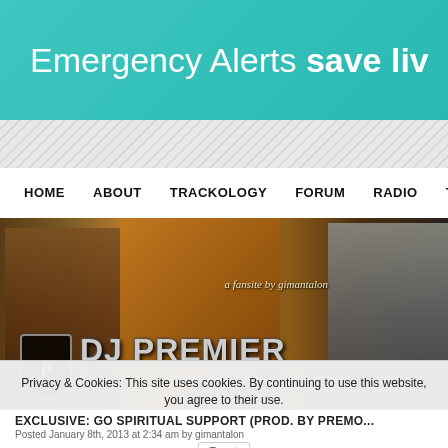[Figure (screenshot): Teal/cyan advertisement banner reading 'Emergency Alerts save liv...' (text cut off at right edge)]
[Figure (screenshot): Diagonal grey stripe decorative background separator]
HOME   ABOUT   TRACKOLOGY   FORUM   RADIO   TV
[Figure (photo): DJ Premier Blog website header banner showing two hip-hop figures, vinyl/star geometric design in brown/gold tones, DJ Premier logo shield, 'DJ PREMIER' title text, 'DJPREMIERBLOG.COM' URL, and 'a fansite by gimantalon' tagline]
Privacy & Cookies: This site uses cookies. By continuing to use this website, you agree to their use.
To find out more, including how to control cookies, see here: Cookie Policy
Close and accept
EXCLUSIVE: GO SPIRITUAL SUPPORT (PROD. BY PREMO...
Posted January 8th, 2013 at 2:34 am by gimantalon
Tweet